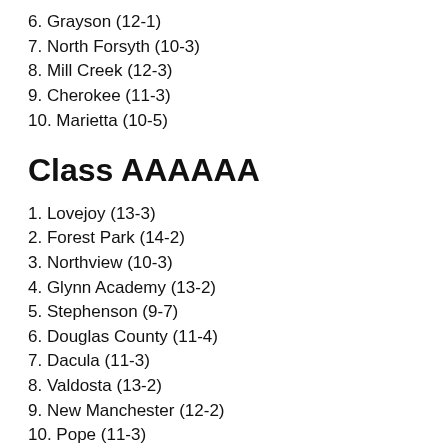6. Grayson (12-1)
7. North Forsyth (10-3)
8. Mill Creek (12-3)
9. Cherokee (11-3)
10. Marietta (10-5)
Class AAAAAA
1. Lovejoy (13-3)
2. Forest Park (14-2)
3. Northview (10-3)
4. Glynn Academy (13-2)
5. Stephenson (9-7)
6. Douglas County (11-4)
7. Dacula (11-3)
8. Valdosta (13-2)
9. New Manchester (12-2)
10. Pope (11-3)